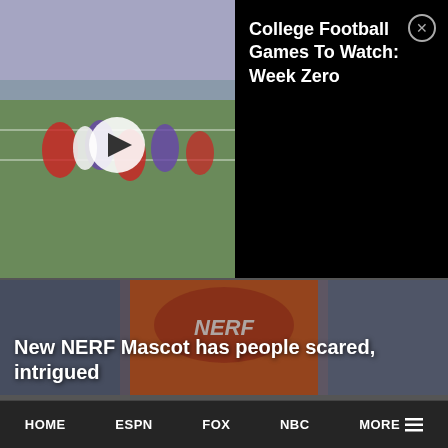[Figure (screenshot): Sports app screenshot showing a college football video thumbnail with players on a field and a white play button in the center]
College Football Games To Watch: Week Zero
[Figure (photo): NERF mascot wearing an orange vest covered in colorful dart-like fringe, resembling a cheerleader costume]
New NERF Mascot has people scared, intrigued
[Figure (photo): Large group of hockey players in dark maroon jerseys and white caps celebrating, presumed Stanley Cup celebration]
Start times for the NBA Finals are harder to defend now after watching the Stanley
HOME   ESPN   FOX   NBC   MORE